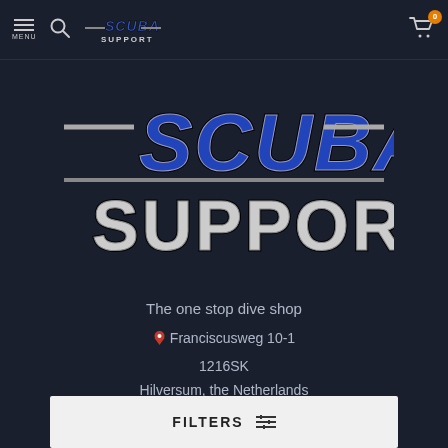MENU | Search | SCUBA SUPPORT | Cart 0
[Figure (logo): Scuba Support logo — large stylized text 'SCUBA' in blue/silver with underlines above and below, and 'SUPPORT' below in metallic 3D lettering]
The one stop dive shop
Franciscusweg 10-1
1216SK
Hilversum, the Netherlands
FILTERS